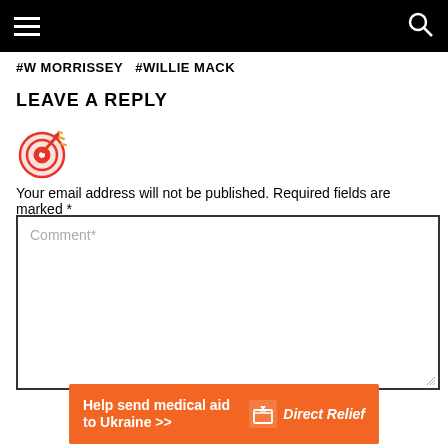#W MORRISSEY  #WILLIE MACK
LEAVE A REPLY
[Figure (illustration): Target with arrow emoji icon in red and orange]
Your email address will not be published. Required fields are marked *
Comment*
[Figure (infographic): Orange advertisement banner reading 'Help send medical aid to Ukraine >>' with Direct Relief logo on the right]